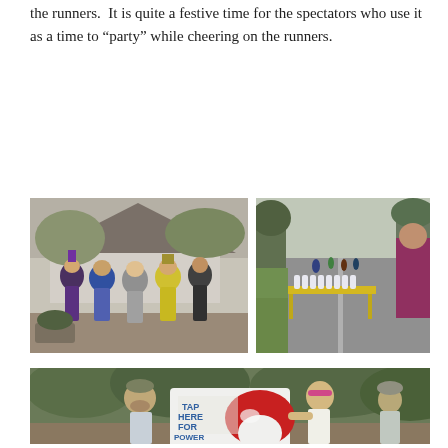the runners.  It is quite a festive time for the spectators who use it as a time to “party” while cheering on the runners.
[Figure (photo): Group of spectators in Mardi Gras costumes and hats standing outside in front of a house, cheering at a running event.]
[Figure (photo): View of a race course street with runners in the distance, a yellow table with water cups, and a spectator in a magenta top.]
[Figure (photo): A man holding a sign reading 'TAP HERE FOR POWER' with a red mushroom graphic, and a woman in a headband touching the sign at a running event.]